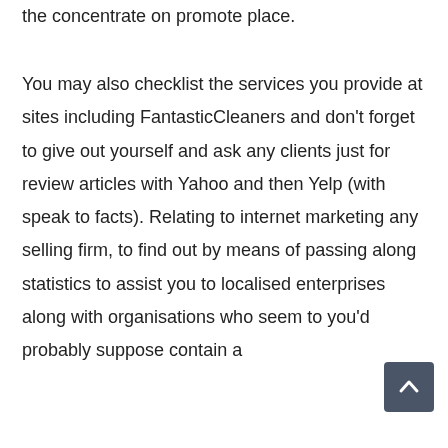recognize in case any issuer will stay an realistic doing the concentrate on promote place.
You may also checklist the services you provide at sites including FantasticCleaners and don't forget to give out yourself and ask any clients just for review articles with Yahoo and then Yelp (with speak to facts). Relating to internet marketing any selling firm, to find out by means of passing along statistics to assist you to localised enterprises along with organisations who seem to you'd probably suppose contain a